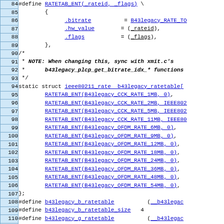[Figure (screenshot): Source code listing showing C preprocessor macros and static struct definition for b43legacy wireless driver rate tables, lines 84-113]